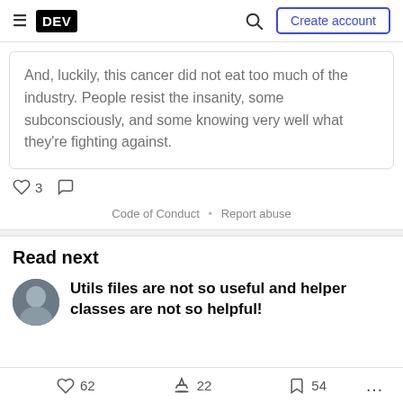DEV — Create account
And, luckily, this cancer did not eat too much of the industry. People resist the insanity, some subconsciously, and some knowing very well what they're fighting against.
♡ 3  ○
Code of Conduct • Report abuse
Read next
Utils files are not so useful and helper classes are not so helpful!
♡ 62  〄 22  □ 54  ...